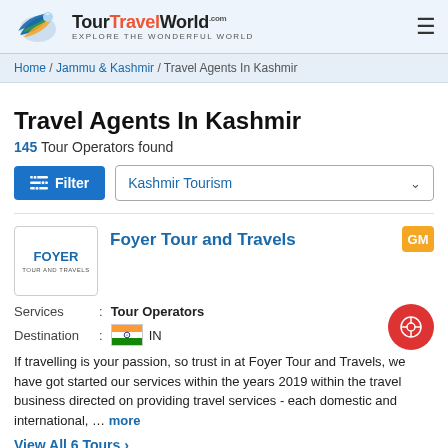TourTravelWorld.com — EXPLORE THE WONDERFUL WORLD
Home / Jammu & Kashmir / Travel Agents In Kashmir
Travel Agents In Kashmir
145 Tour Operators found
Filter | Kashmir Tourism
[Figure (logo): Foyer Tour and Travels company logo]
Foyer Tour and Travels
Services : Tour Operators
Destination : IN
If travelling is your passion, so trust in at Foyer Tour and Travels, we have got started our services within the years 2019 within the travel business directed on providing travel services - each domestic and international, ... more
View All 6 Tours >